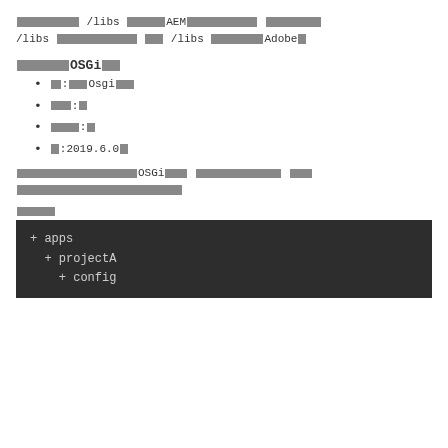[redacted] /libs [redacted]AEM[redacted] [redacted] /libs [redacted] [redacted] /libs [redacted]Adobe[redacted]
[redacted]OSGi[redacted]
[redacted]:Osgi[redacted]
[redacted]:[redacted]
[redacted]:[redacted]
[redacted]:2019.6.0[redacted]
[redacted]OSGi[redacted] [redacted] [redacted][redacted]
[redacted]
[Figure (screenshot): Dark code block showing directory tree: + apps, + projectA, + config]